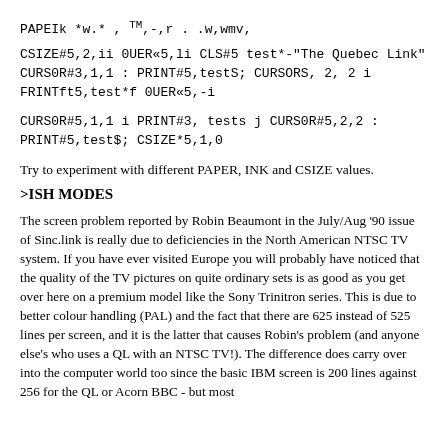PAPEIk *w.* , TM,-,r . .w,wmv,
CSIZE#5,2,ii 0UER«5,li CLS#5 test*-"The Quebec Link" CURS0R#3,1,1 : PRINT#5,testS; CURSORS, 2, 2 i FRINTft5,test*f 0UER«5,-i
CURS0R#5,1,1 i PRINT#3, tests j CURS0R#5,2,2 : PRINT#5,test$; CSIZE*5,1,0
Try to experiment with different PAPER, INK and CSIZE values.
>ISH MODES
The screen problem reported by Robin Beaumont in the July/Aug '90 issue of Sinc.link is really due to deficiencies in the North American NTSC TV system. If you have ever visited Europe you will probably have noticed that the quality of the TV pictures on quite ordinary sets is as good as you get over here on a premium model like the Sony Trinitron series. This is due to better colour handling (PAL) and the fact that there are 625 instead of 525 lines per screen, and it is the latter that causes Robin's problem (and anyone else's who uses a QL with an NTSC TV!). The difference does carry over into the computer world too since the basic IBM screen is 200 lines against 256 for the QL or Acorn BBC - but most